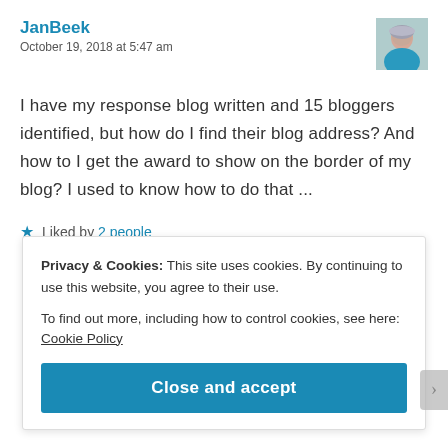JanBeek
October 19, 2018 at 5:47 am
[Figure (photo): Avatar photo of JanBeek, an older woman with short gray hair and a teal top]
I have my response blog written and 15 bloggers identified, but how do I find their blog address? And how to I get the award to show on the border of my blog? I used to know how to do that ...
Liked by 2 people
Reply
Privacy & Cookies: This site uses cookies. By continuing to use this website, you agree to their use.
To find out more, including how to control cookies, see here: Cookie Policy
Close and accept